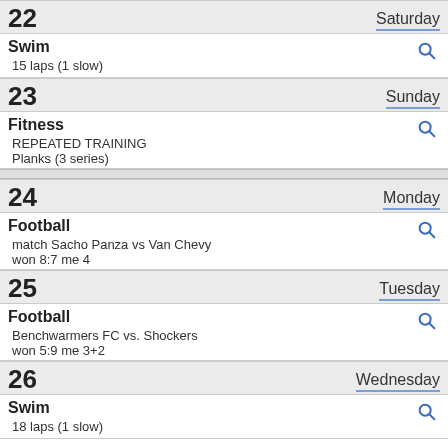22 Saturday
Swim
15 laps (1 slow)
23 Sunday
Fitness
REPEATED TRAINING
Planks (3 series)
24 Monday
Football
match Sacho Panza vs Van Chevy
won 8:7  me 4
25 Tuesday
Football
Benchwarmers FC vs. Shockers
won 5:9  me 3+2
26 Wednesday
Swim
18 laps (1 slow)